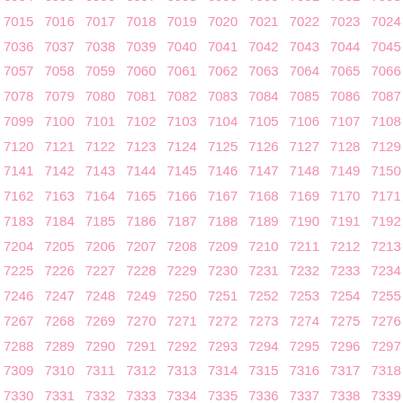| 6994 | 6995 | 6996 | 6997 | 6998 | 6999 | 7000 | 7001 | 7002 | 7003 | 70.. |
| 7015 | 7016 | 7017 | 7018 | 7019 | 7020 | 7021 | 7022 | 7023 | 7024 | 70.. |
| 7036 | 7037 | 7038 | 7039 | 7040 | 7041 | 7042 | 7043 | 7044 | 7045 | 70.. |
| 7057 | 7058 | 7059 | 7060 | 7061 | 7062 | 7063 | 7064 | 7065 | 7066 | 70.. |
| 7078 | 7079 | 7080 | 7081 | 7082 | 7083 | 7084 | 7085 | 7086 | 7087 | 70.. |
| 7099 | 7100 | 7101 | 7102 | 7103 | 7104 | 7105 | 7106 | 7107 | 7108 | 71.. |
| 7120 | 7121 | 7122 | 7123 | 7124 | 7125 | 7126 | 7127 | 7128 | 7129 | 71.. |
| 7141 | 7142 | 7143 | 7144 | 7145 | 7146 | 7147 | 7148 | 7149 | 7150 | 71.. |
| 7162 | 7163 | 7164 | 7165 | 7166 | 7167 | 7168 | 7169 | 7170 | 7171 | 71.. |
| 7183 | 7184 | 7185 | 7186 | 7187 | 7188 | 7189 | 7190 | 7191 | 7192 | 71.. |
| 7204 | 7205 | 7206 | 7207 | 7208 | 7209 | 7210 | 7211 | 7212 | 7213 | 72.. |
| 7225 | 7226 | 7227 | 7228 | 7229 | 7230 | 7231 | 7232 | 7233 | 7234 | 72.. |
| 7246 | 7247 | 7248 | 7249 | 7250 | 7251 | 7252 | 7253 | 7254 | 7255 | 72.. |
| 7267 | 7268 | 7269 | 7270 | 7271 | 7272 | 7273 | 7274 | 7275 | 7276 | 72.. |
| 7288 | 7289 | 7290 | 7291 | 7292 | 7293 | 7294 | 7295 | 7296 | 7297 | 72.. |
| 7309 | 7310 | 7311 | 7312 | 7313 | 7314 | 7315 | 7316 | 7317 | 7318 | 73.. |
| 7330 | 7331 | 7332 | 7333 | 7334 | 7335 | 7336 | 7337 | 7338 | 7339 | 73.. |
| 7351 | 7352 | 7353 | 7354 | 7355 | 7356 | 7357 | 7358 | 7359 | 7360 | 73.. |
| 7372 | 7373 | 7374 | 7375 | 7376 | 7377 | 7378 | 7379 | 7380 | 7381 | 73.. |
| 7393 | 7394 | 7395 | 7396 | 7397 | 7398 | 7399 | 7400 | 7401 | 7402 | 74.. |
| 7414 | 7415 | 7416 | 7417 | 7418 | 7419 | 7420 | 7421 | 7422 | 7423 | 74.. |
| 7435 | 7436 | 7437 | 7438 | 7439 | 7440 | 7441 | 7442 | 7443 | 7444 | 74.. |
| 7456 | 7457 | 7458 | 7459 | 7460 | 7461 | 7462 | 7463 | 7464 | 7465 | 74.. |
| 7477 | 7478 | 7479 | 7480 | 7481 | 7482 | 7483 | 7484 | 7485 | 7486 | 74.. |
| 7498 | 7499 | 7500 | 7501 | 7502 | 7503 | 7504 | 7505 | 7506 | 7507 | 70.. |
| 7519 | 7520 | 7521 | 7522 | 7523 | 7524 | 7525 | 7526 | 7527 | 7528 | .. |